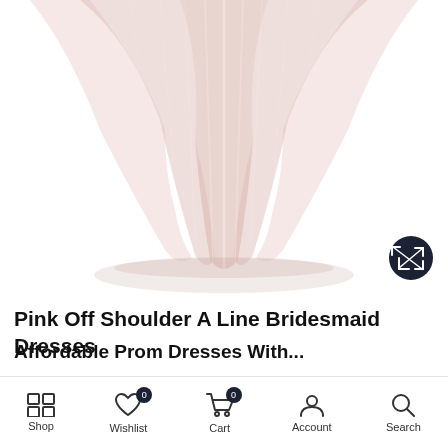[Figure (photo): Close-up photo of the lower half of a pink/blush off-shoulder A-line bridesmaid dress on a white background, showing flowing chiffon fabric. An expand/fullscreen button (dark circle with arrows icon) is visible in the bottom-right corner of the photo.]
Pink Off Shoulder A Line Bridesmaid Dresses
Affordable Prom Dresses With...
Shop  Wishlist 0  Cart 0  Account  Search